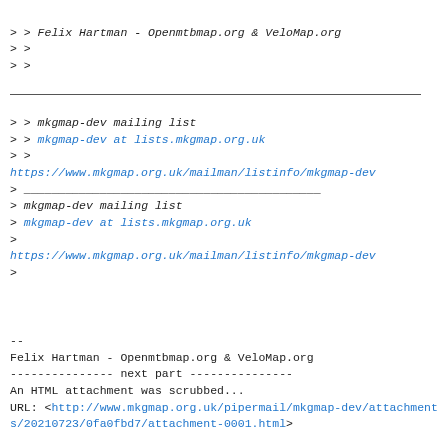> > Felix Hartman - Openmtbmap.org & VeloMap.org
> >
> >
> > mkgmap-dev mailing list
> > mkgmap-dev at lists.mkgmap.org.uk
> >
https://www.mkgmap.org.uk/mailman/listinfo/mkgmap-dev
> ___________________________________________
> mkgmap-dev mailing list
> mkgmap-dev at lists.mkgmap.org.uk
>
https://www.mkgmap.org.uk/mailman/listinfo/mkgmap-dev
>
--
Felix Hartman - Openmtbmap.org & VeloMap.org
--------------- next part ---------------
An HTML attachment was scrubbed...
URL: <http://www.mkgmap.org.uk/pipermail/mkgmap-dev/attachments/20210723/0fa0fbd7/attachment-0001.html>